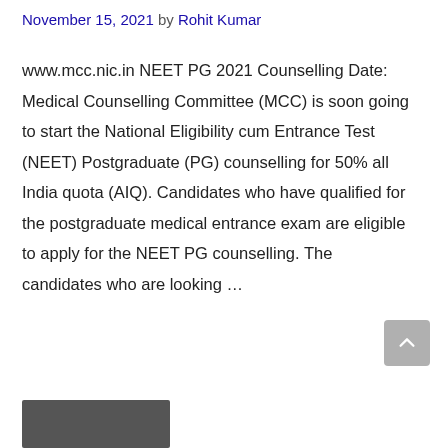November 15, 2021 by Rohit Kumar
www.mcc.nic.in NEET PG 2021 Counselling Date: Medical Counselling Committee (MCC) is soon going to start the National Eligibility cum Entrance Test (NEET) Postgraduate (PG) counselling for 50% all India quota (AIQ). Candidates who have qualified for the postgraduate medical entrance exam are eligible to apply for the NEET PG counselling. The candidates who are looking …
[Figure (photo): Partial gray image visible at the bottom of the page]